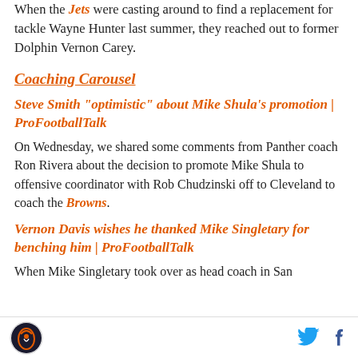When the Jets were casting around to find a replacement for tackle Wayne Hunter last summer, they reached out to former Dolphin Vernon Carey.
Coaching Carousel
Steve Smith "optimistic" about Mike Shula’s promotion | ProFootballTalk
On Wednesday, we shared some comments from Panther coach Ron Rivera about the decision to promote Mike Shula to offensive coordinator with Rob Chudzinski off to Cleveland to coach the Browns.
Vernon Davis wishes he thanked Mike Singletary for benching him | ProFootballTalk
When Mike Singletary took over as head coach in San